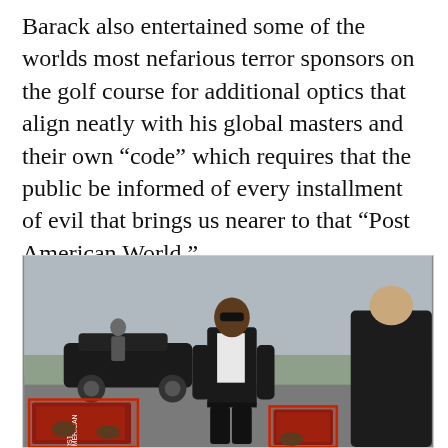Barack also entertained some of the worlds most nefarious terror sponsors on the golf course for additional optics that align neatly with his global masters and their own “code” which requires that the public be informed of every installment of evil that brings us nearer to that “Post American World.”
[Figure (photo): Outdoor photograph showing a man in a dark suit and sunglasses walking on a tarmac, with another man's back visible on the right, a black car in the background, and red bounding boxes highlighting books being carried at the lower left and lower center-right of the frame.]